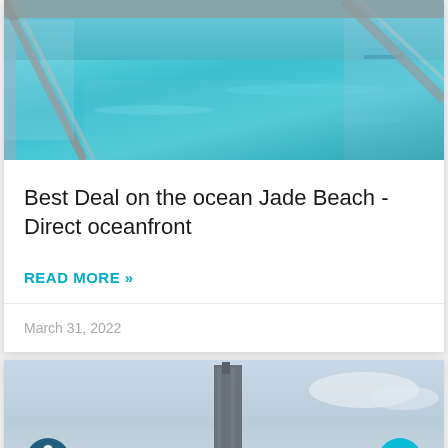[Figure (photo): Balcony view of turquoise ocean water with glass and metal railings]
Best Deal on the ocean Jade Beach - Direct oceanfront
READ MORE »
March 31, 2022
[Figure (photo): Tall modern building/skyscraper against a hazy sky near the ocean]